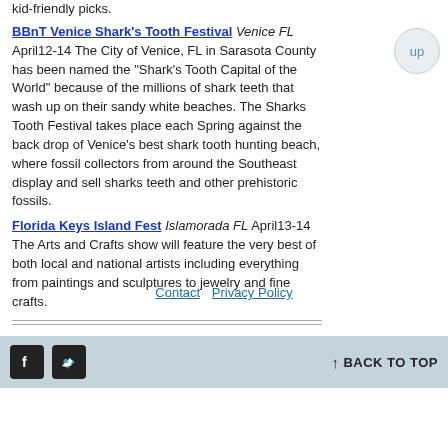kid-friendly picks.
BBnT Venice Shark's Tooth Festival Venice FL April12-14 The City of Venice, FL in Sarasota County has been named the "Shark's Tooth Capital of the World" because of the millions of shark teeth that wash up on their sandy white beaches. The Sharks Tooth Festival takes place each Spring against the back drop of Venice's best shark tooth hunting beach, where fossil collectors from around the Southeast display and sell sharks teeth and other prehistoric fossils.
Florida Keys Island Fest Islamorada FL April13-14 The Arts and Crafts show will feature the very best of both local and national artists including everything from paintings and sculptures to jewelry and fine crafts.
Contact  Privacy Policy
BACK TO TOP